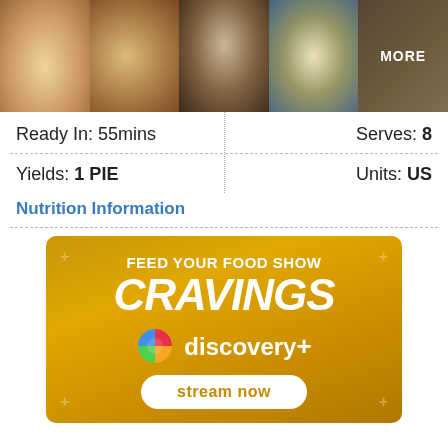[Figure (photo): Five food photos in a horizontal strip showing apple pie/cobbler dishes. Last cell has 'MORE' overlay.]
Ready In: 55mins
Serves: 8
Yields: 1 PIE
Units: US
Nutrition Information
[Figure (infographic): Discovery+ advertisement with golden background. Text reads 'FEED YOUR FOOD SHOW CRAVINGS' with Discovery+ logo and 'stream now' button.]